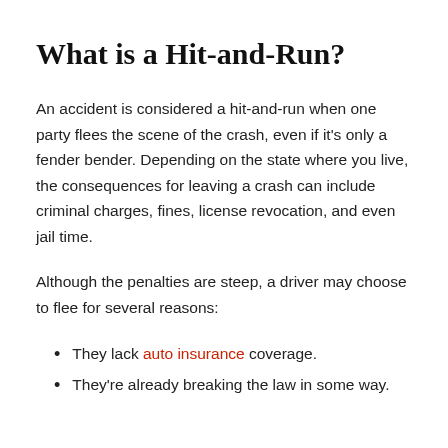What is a Hit-and-Run?
An accident is considered a hit-and-run when one party flees the scene of the crash, even if it's only a fender bender. Depending on the state where you live, the consequences for leaving a crash can include criminal charges, fines, license revocation, and even jail time.
Although the penalties are steep, a driver may choose to flee for several reasons:
They lack auto insurance coverage.
They're already breaking the law in some way.